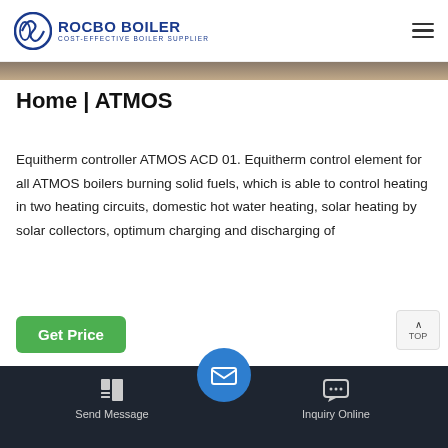ROCBO BOILER - COST-EFFECTIVE BOILER SUPPLIER
[Figure (photo): Top image strip - partial photo of boiler/industrial equipment]
Home | ATMOS
Equitherm controller ATMOS ACD 01. Equitherm control element for all ATMOS boilers burning solid fuels, which is able to control heating in two heating circuits, domestic hot water heating, solar heating by solar collectors, optimum charging and discharging of
[Figure (photo): Bottom section showing boiler/industrial equipment photos]
Send Message | Inquiry Online